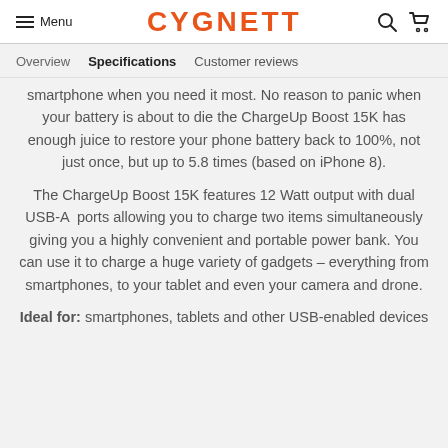Menu | CYGNETT
Overview | Specifications | Customer reviews
smartphone when you need it most. No reason to panic when your battery is about to die the ChargeUp Boost 15K has enough juice to restore your phone battery back to 100%, not just once, but up to 5.8 times (based on iPhone 8).
The ChargeUp Boost 15K features 12 Watt output with dual USB-A  ports allowing you to charge two items simultaneously giving you a highly convenient and portable power bank. You can use it to charge a huge variety of gadgets – everything from smartphones, to your tablet and even your camera and drone.
Ideal for: smartphones, tablets and other USB-enabled devices